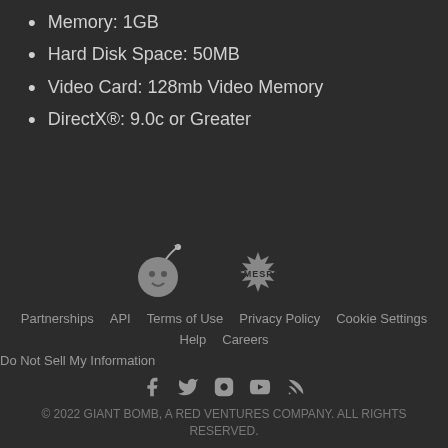Memory: 1GB
Hard Disk Space: 50MB
Video Card: 128mb Video Memory
DirectX®: 9.0c or Greater
[Figure (logo): Giant Bomb mascot logo (cartoon face with bomb) and GameSpot text logo]
Partnerships  API  Terms of Use  Privacy Policy  Cookie Settings  Help  Careers  Do Not Sell My Information  © 2022 GIANT BOMB, A RED VENTURES COMPANY. ALL RIGHTS RESERVED.